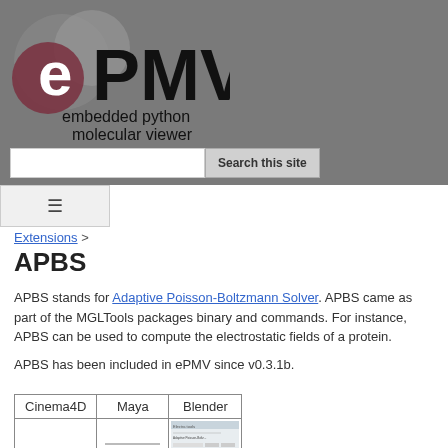[Figure (logo): ePMV logo with text 'embedded python molecular viewer' on grey background]
Extensions > APBS
APBS
APBS stands for Adaptive Poisson-Boltzmann Solver. APBS came as part of the MGLTools packages binary and commands. For instance, APBS can be used to compute the electrostatic fields of a protein.
APBS has been included in ePMV since v0.3.1b.
| Cinema4D | Maya | Blender |
| --- | --- | --- |
|  |  |  |